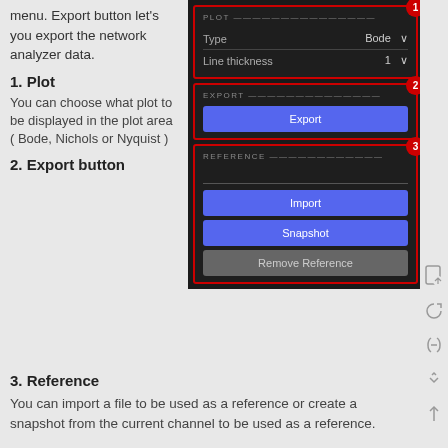menu. Export button let's you export the network analyzer data.
1. Plot
You can choose what plot to be displayed in the plot area ( Bode, Nichols or Nyquist )
2. Export button
3. Reference
[Figure (screenshot): Dark UI panel showing three sections: PLOT (with Type=Bode and Line thickness=1 dropdowns), EXPORT (with blue Export button), and REFERENCE (with Import, Snapshot blue buttons and Remove Reference gray button). Each section has a red circle badge numbered 1, 2, 3.]
You can import a file to be used as a reference or create a snapshot from the current channel to be used as a reference.